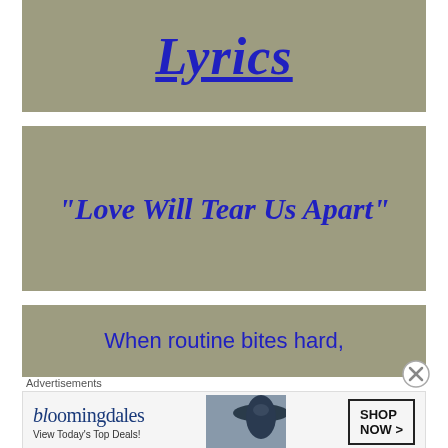Lyrics
“Love Will Tear Us Apart”
When routine bites hard,
Advertisements
[Figure (other): Bloomingdale's advertisement banner: logo text 'bloomingdales', tagline 'View Today’s Top Deals!', SHOP NOW > button, and a woman in a large brimmed hat.]